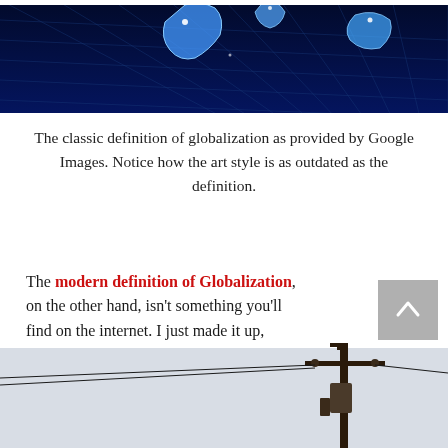[Figure (photo): 3D rendered blue glowing continents/world map on dark navy grid background]
The classic definition of globalization as provided by Google Images. Notice how the art style is as outdated as the definition.
The modern definition of Globalization, on the other hand, isn't something you'll find on the internet. I just made it up, and it can be defined as such: Globalization is the current world order that focuses on a global society rather than a local society.
[Figure (photo): Photo of utility/telephone pole with wires against a light sky]